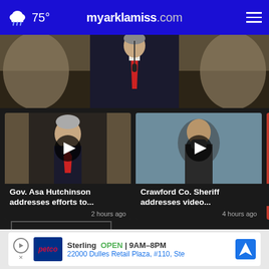75° myarklamiss.com
[Figure (screenshot): Hero image showing a man in a dark suit with red tie at a podium]
[Figure (screenshot): Video thumbnail: Gov. Asa Hutchinson at podium]
Gov. Asa Hutchinson addresses efforts to...
2 hours ago
[Figure (screenshot): Video thumbnail: Crawford Co. Sheriff]
Crawford Co. Sheriff addresses video...
4 hours ago
[Figure (screenshot): Partial video thumbnail: Dr. By... Explai...]
Dr. By... Explai...
More Videos ›
[Figure (screenshot): Advertisement: Petco Sterling OPEN 9AM-8PM, 22000 Dulles Retail Plaza, #110, Ste]